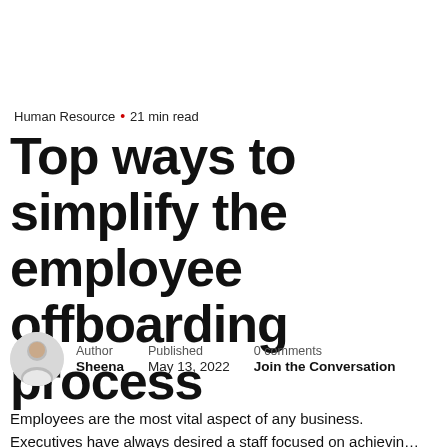Human Resource · 21 min read
Top ways to simplify the employee offboarding process
[Figure (photo): Small circular avatar photo of author Sheena]
Author
Sheena
Published
May 13, 2022
0 comments
Join the Conversation
Employees are the most vital aspect of any business.
Executives have always desired a staff focused on achieving th...